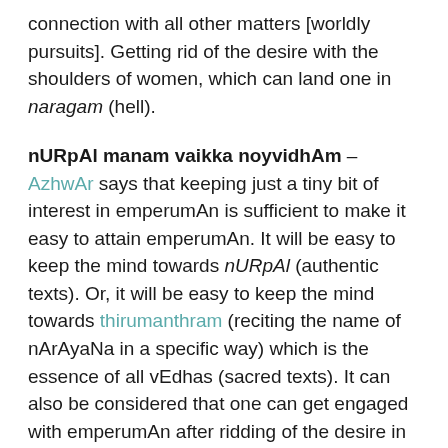connection with all other matters [worldly pursuits]. Getting rid of the desire with the shoulders of women, which can land one in naragam (hell).
nURpAl manam vaikka noyvidhAm – AzhwAr says that keeping just a tiny bit of interest in emperumAn is sufficient to make it easy to attain emperumAn. It will be easy to keep the mind towards nURpAl (authentic texts). Or, it will be easy to keep the mind towards thirumanthram (reciting the name of nArAyaNa in a specific way) which is the essence of all vEdhas (sacred texts). It can also be considered that one can get engaged with emperumAn after ridding of the desire in worldly pursuits.
nARpAla vEdhaththAn – one who is described vividly by the four vEdhas.